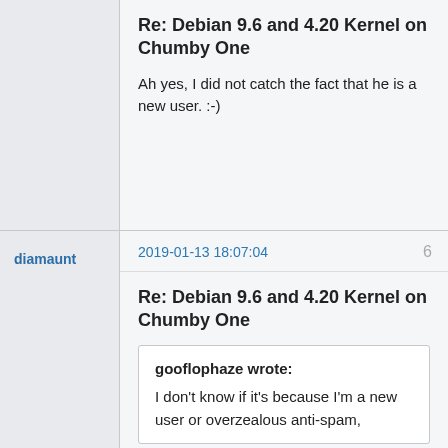Re: Debian 9.6 and 4.20 Kernel on Chumby One
Ah yes, I did not catch the fact that he is a new user. :-)
diamaunt
2019-01-13 18:07:04
6
Re: Debian 9.6 and 4.20 Kernel on Chumby One
gooflophaze wrote:
I don't know if it's because I'm a new user or overzealous anti-spam,
It's not overzealous at all.   If anything, it's